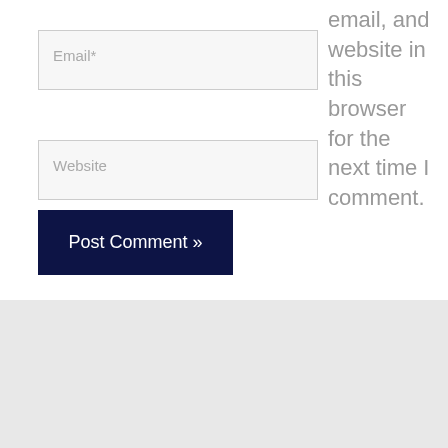Email*
Website
email, and website in this browser for the next time I comment.
Post Comment »
Search
Search